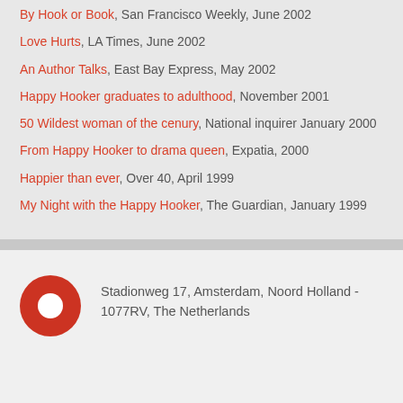By Hook or Book, San Francisco Weekly, June 2002
Love Hurts, LA Times, June 2002
An Author Talks, East Bay Express, May 2002
Happy Hooker graduates to adulthood, November 2001
50 Wildest woman of the cenury, National inquirer January 2000
From Happy Hooker to drama queen, Expatia, 2000
Happier than ever, Over 40, April 1999
My Night with the Happy Hooker, The Guardian, January 1999
Stadionweg 17, Amsterdam, Noord Holland - 1077RV, The Netherlands